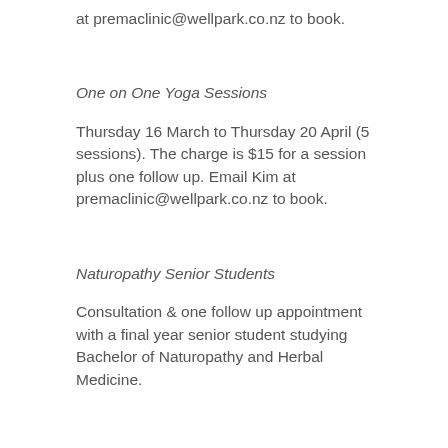at premaclinic@wellpark.co.nz to book.
One on One Yoga Sessions
Thursday 16 March to Thursday 20 April (5 sessions). The charge is $15 for a session plus one follow up. Email Kim at premaclinic@wellpark.co.nz to book.
Naturopathy Senior Students
Consultation & one follow up appointment with a final year senior student studying Bachelor of Naturopathy and Herbal Medicine.